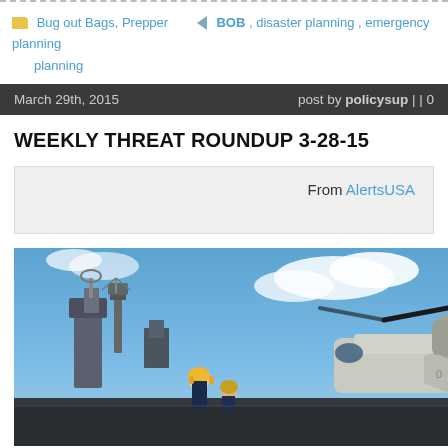Bug out Bags, Prepper planning   BOB , disaster planning , emergency planning
March 29th, 2015   post by policysup | | 0
WEEKLY THREAT ROUNDUP 3-28-15
From AlertsUSA
[Figure (photo): Military personnel on a ship deck with a tiltrotor aircraft (V-22 Osprey) visible on the right, blue sky with clouds in background]